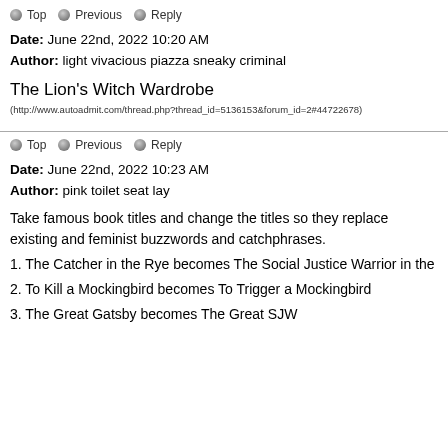🔘 Top  🔘 Previous  🔘 Reply
Date: June 22nd, 2022 10:20 AM
Author: light vivacious piazza sneaky criminal
The Lion's Witch Wardrobe
(http://www.autoadmit.com/thread.php?thread_id=5136153&forum_id=2#44722678)
🔘 Top  🔘 Previous  🔘 Reply
Date: June 22nd, 2022 10:23 AM
Author: pink toilet seat lay
Take famous book titles and change the titles so they replace existing and feminist buzzwords and catchphrases.
1. The Catcher in the Rye becomes The Social Justice Warrior in the
2. To Kill a Mockingbird becomes To Trigger a Mockingbird
3. The Great Gatsby becomes The Great SJW